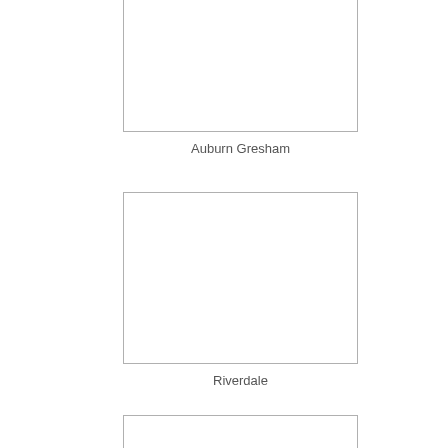[Figure (other): Empty white image box (partially visible, top of page) — Auburn Gresham neighborhood]
Auburn Gresham
[Figure (other): Empty white image box — Riverdale neighborhood]
Riverdale
[Figure (other): Empty white image box (partially visible, bottom of page)]